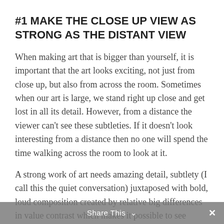#1 MAKE THE CLOSE UP VIEW AS STRONG AS THE DISTANT VIEW
When making art that is bigger than yourself, it is important that the art looks exciting, not just from close up, but also from across the room. Sometimes when our art is large, we stand right up close and get lost in all its detail. However, from a distance the viewer can't see these subtleties. If it doesn't look interesting from a distance then no one will spend the time walking across the room to look at it.
A strong work of art needs amazing detail, subtlety (I call this the quiet conversation) juxtaposed with bold, loud composition created by relative big differences in value contrast which makes it possible to see clearly from far away (loud conversation.) Both conversations need to be equally strong.
Share This ∨  ×